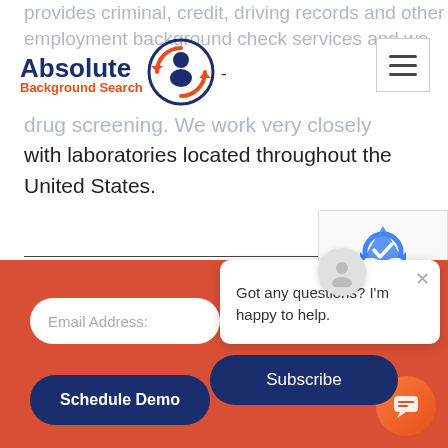provides criminal, credit, driving records and other employment background check services and we drug screening. We work very closely with laboratories located throughout the United States.
[Figure (logo): Absolute Background Search logo with icon of person and circular arrows]
[Figure (screenshot): Hamburger menu icon top right]
[Figure (screenshot): reCAPTCHA widget with Privacy - Terms text]
[Figure (screenshot): Red footer section with email input, Schedule Demo button, Subscribe button, chat popup saying 'Got any questions? I'm happy to help.', and chat bubble icon]